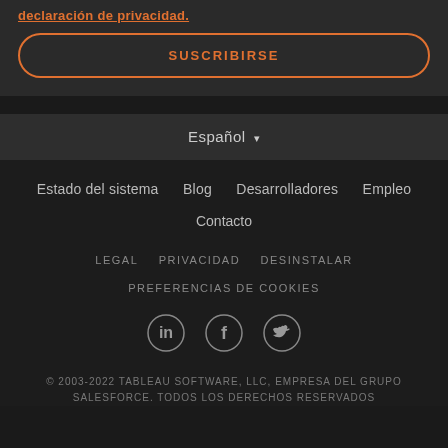declaración de privacidad.
SUSCRIBIRSE
Español ▾
Estado del sistema   Blog   Desarrolladores   Empleo
Contacto
LEGAL   PRIVACIDAD   DESINSTALAR
PREFERENCIAS DE COOKIES
[Figure (illustration): LinkedIn, Facebook, and Twitter social media icons in circles]
© 2003-2022 TABLEAU SOFTWARE, LLC, EMPRESA DEL GRUPO SALESFORCE. TODOS LOS DERECHOS RESERVADOS